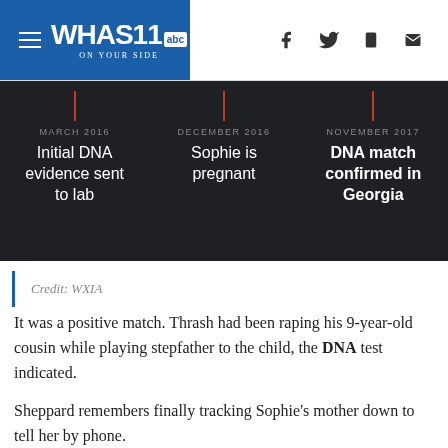WHAS11 abc ON YOUR SIDE
[Figure (infographic): News broadcast timeline graphic on dark background showing three events: MARCH 2016 - Initial DNA evidence sent to lab; DECEMBER 2016 - Sophie is pregnant; NOVEMBER 2017 - DNA match confirmed in Georgia]
Credit: WXIA
It was a positive match. Thrash had been raping his 9-year-old cousin while playing stepfather to the child, the DNA test indicated.
Sheppard remembers finally tracking Sophie's mother down to tell her by phone.
“I've got my evidence back. Your daughter was telling the truth. This did happen to her. And I'm in the process of pursuing this case. And she acted surprised. Concerned. Crying,” Sheppard recalled.